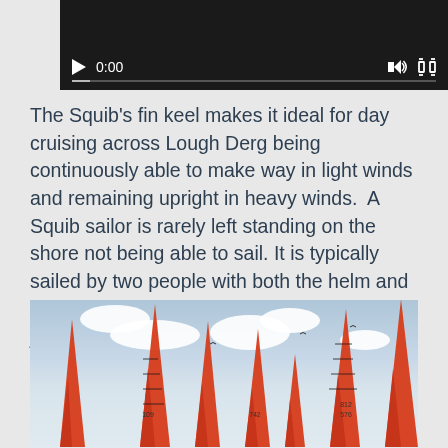[Figure (screenshot): Video player with black background showing 0:00 timestamp, play button, progress bar, volume icon, and fullscreen icon]
The Squib's fin keel makes it ideal for day cruising across Lough Derg being continuously able to make way in light winds and remaining upright in heavy winds.  A Squib sailor is rarely left standing on the shore not being able to sail. It is typically sailed by two people with both the helm and crew actively sharing the sailing of a main, jib and spinnaker sail.
[Figure (photo): Photo of multiple Squib sailboats with bright orange/red sails against a cloudy sky, numbered sails visible including 576 and 812]